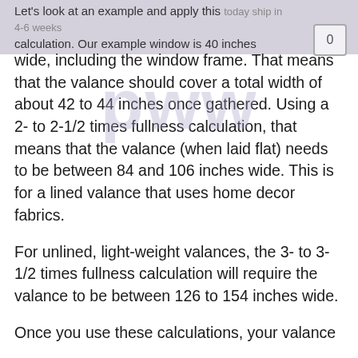Let's look at an example and apply this calculation. Our example window is 40 inches wide, including the window frame.
Let's look at an example and apply this calculation. Our example window is 40 inches wide, including the window frame. That means that the valance should cover a total width of about 42 to 44 inches once gathered. Using a 2- to 2-1/2 times fullness calculation, that means that the valance (when laid flat) needs to be between 84 and 106 inches wide. This is for a lined valance that uses home decor fabrics.
For unlined, light-weight valances, the 3- to 3-1/2 times fullness calculation will require the valance to be between 126 to 154 inches wide.
Once you use these calculations, your valance should be appropriate for all occasions.